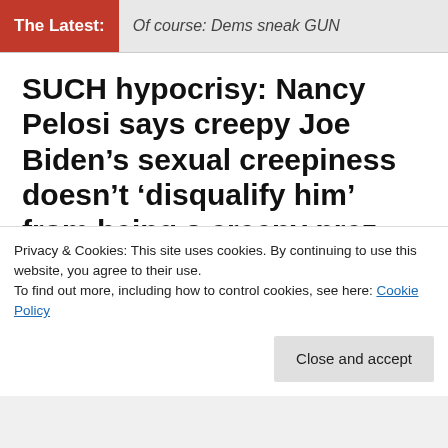The Latest: Of course: Dems sneak GUN
SUCH hypocrisy: Nancy Pelosi says creepy Joe Biden’s sexual creepiness doesn’t ‘disqualify him’ from being a creepy prez
Posted on April 2, 2021 in Democrats, Politics // 1 Comment
Privacy & Cookies: This site uses cookies. By continuing to use this website, you agree to their use.
To find out more, including how to control cookies, see here: Cookie Policy